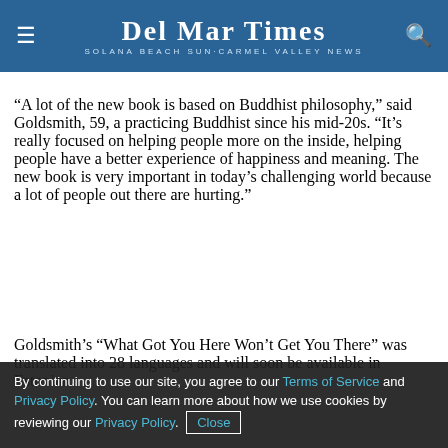Del Mar Times — Solana Beach Sun·Carmel Valley News
“A lot of the new book is based on Buddhist philosophy,” said Goldsmith, 59, a practicing Buddhist since his mid-20s. “It’s really focused on helping people more on the inside, helping people have a better experience of happiness and meaning. The new book is very important in today’s challenging world because a lot of people out there are hurting.”
Goldsmith’s “What Got You Here Won’t Get You There” was translated into 28 languages and will soon be available in Estonian.
“Who would have guessed,” he said with a modest laugh.
By continuing to use our site, you agree to our Terms of Service and Privacy Policy. You can learn more about how we use cookies by reviewing our Privacy Policy. Close